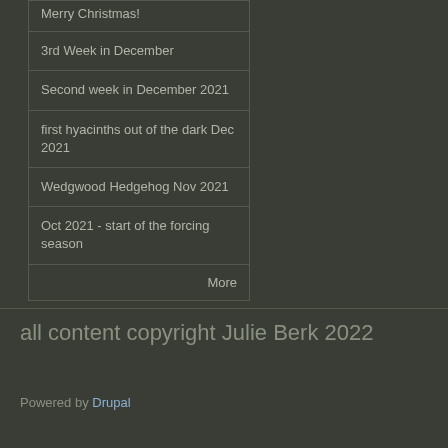Merry Christmas!
3rd Week in December
Second week in December 2021
first hyacinths out of the dark Dec 2021
Wedgwood Hedgehog Nov 2021
Oct 2021 - start of the forcing season
More
all content copyright Julie Berk 2022
Powered by Drupal